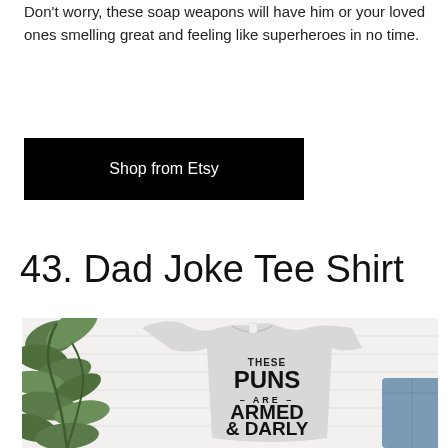Don't worry, these soap weapons will have him or your loved ones smelling great and feeling like superheroes in no time.
Shop from Etsy
43. Dad Joke Tee Shirt
[Figure (photo): A light grey t-shirt with bold black text reading 'THESE PUNS ARE ARMED & DARLY', laid flat on a white wooden surface with green eucalyptus leaves on the left side and blue jeans visible on the right.]